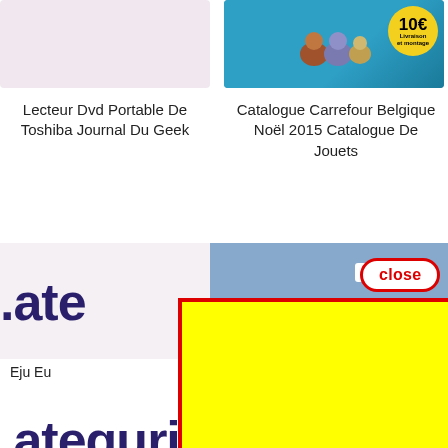[Figure (photo): Light pink/mauve background image placeholder for Toshiba DVD portable product]
[Figure (photo): Blue background with stuffed bears/toys and a yellow circular badge showing 10 euros]
Lecteur Dvd Portable De Toshiba Journal Du Geek
Catalogue Carrefour Belgique Noël 2015 Catalogue De Jouets
[Figure (photo): Partial view of a large retail store building exterior with Hebrew text sign]
.ate
Eju Eu
group
[Figure (other): Yellow rectangle with red border overlay (advertisement or popup blocker)]
close
.ateguries